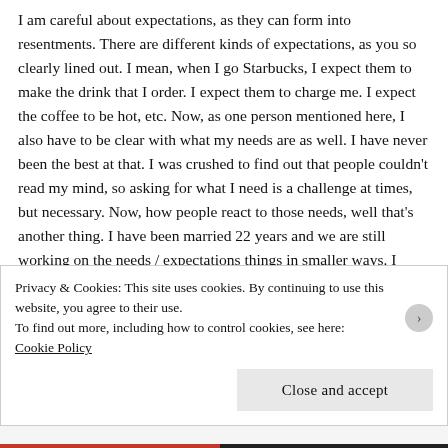I am careful about expectations, as they can form into resentments. There are different kinds of expectations, as you so clearly lined out. I mean, when I go Starbucks, I expect them to make the drink that I order. I expect them to charge me. I expect the coffee to be hot, etc. Now, as one person mentioned here, I also have to be clear with what my needs are as well. I have never been the best at that. I was crushed to find out that people couldn't read my mind, so asking for what I need is a challenge at times, but necessary. Now, how people react to those needs, well that's another thing. I have been married 22 years and we are still working on the needs / expectations things in smaller ways. I think conversations are important,
Privacy & Cookies: This site uses cookies. By continuing to use this website, you agree to their use.
To find out more, including how to control cookies, see here:
Cookie Policy
Close and accept